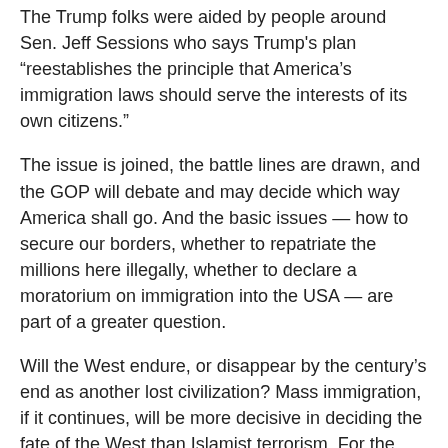The Trump folks were aided by people around Sen. Jeff Sessions who says Trump's plan “reestablishes the principle that America’s immigration laws should serve the interests of its own citizens.”
The issue is joined, the battle lines are drawn, and the GOP will debate and may decide which way America shall go. And the basic issues — how to secure our borders, whether to repatriate the millions here illegally, whether to declare a moratorium on immigration into the USA — are part of a greater question.
Will the West endure, or disappear by the century’s end as another lost civilization? Mass immigration, if it continues, will be more decisive in deciding the fate of the West than Islamist terrorism. For the world is invading the West.
A wild exaggeration? Consider.